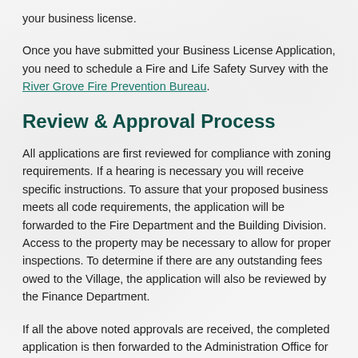your business license.
Once you have submitted your Business License Application, you need to schedule a Fire and Life Safety Survey with the River Grove Fire Prevention Bureau.
Review & Approval Process
All applications are first reviewed for compliance with zoning requirements. If a hearing is necessary you will receive specific instructions. To assure that your proposed business meets all code requirements, the application will be forwarded to the Fire Department and the Building Division. Access to the property may be necessary to allow for proper inspections. To determine if there are any outstanding fees owed to the Village, the application will also be reviewed by the Finance Department.
If all the above noted approvals are received, the completed application is then forwarded to the Administration Office for final review and processing. If everything is in order you will be notified with a request for final payment of the balance